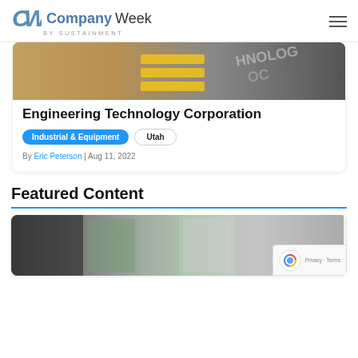CompanyWeek by SUSTAINMENT
[Figure (photo): Industrial machinery photo showing conveyor belt with yellow safety markings and technology text visible]
Engineering Technology Corporation
Industrial & Equipment   Utah
By Eric Peterson | Aug 11, 2022
Featured Content
[Figure (photo): Partial photo of people in an office or industrial setting, partially covered by reCAPTCHA badge]